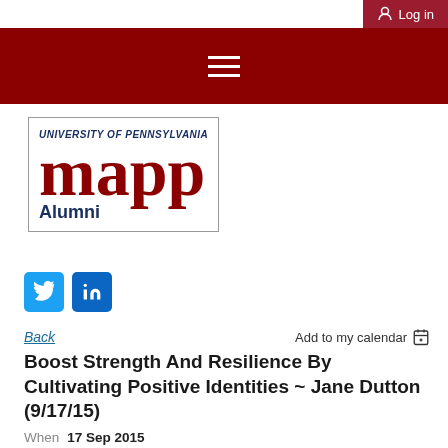Log in
[Figure (logo): University of Pennsylvania MAPP Alumni logo in dark red and navy blue, inside a bordered box]
[Figure (infographic): Twitter and LinkedIn social media icon buttons in blue]
Back
Add to my calendar
Boost Strength And Resilience By Cultivating Positive Identities ~ Jane Dutton (9/17/15)
When   17 Sep 2015